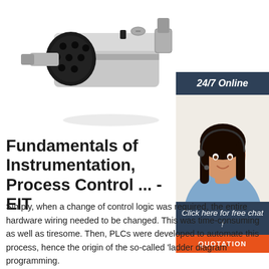[Figure (photo): Silver cylindrical electrical connector (multi-pin socket) photographed at an angle, showing circular face with multiple pin holes, metallic body with clamp mount]
[Figure (photo): 24/7 Online chat support widget showing a smiling female customer service agent with headset, dark blue header with '24/7 Online', chat prompt 'Click here for free chat!', and orange QUOTATION button]
Fundamentals of Instrumentation, Process Control ... - EIT
Simply, when a change of control logic was required, the entire hardware wiring needed to be changed. This was time-consuming as well as tiresome. Then, PLCs were developed to automate this process, hence the origin of the so-called 'ladder diagram' programming.